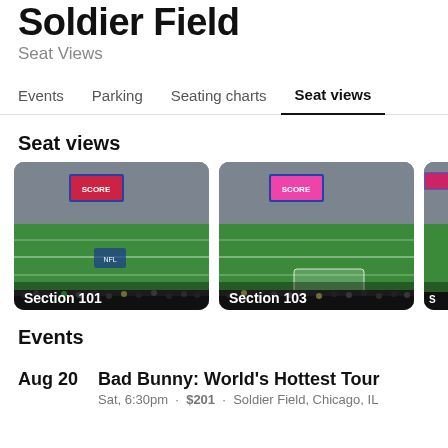Soldier Field
Seat Views
Events  Parking  Seating charts  Seat views
Seat views
[Figure (photo): Stadium seat view photo from Section 101 at Soldier Field, showing green football field and packed stands]
[Figure (photo): Stadium seat view photo from Section 103 at Soldier Field, showing green football field and stands]
[Figure (photo): Partial stadium seat view photo, cropped]
Events
Aug 20
Bad Bunny: World's Hottest Tour
Sat, 6:30pm  $201  Soldier Field, Chicago, IL